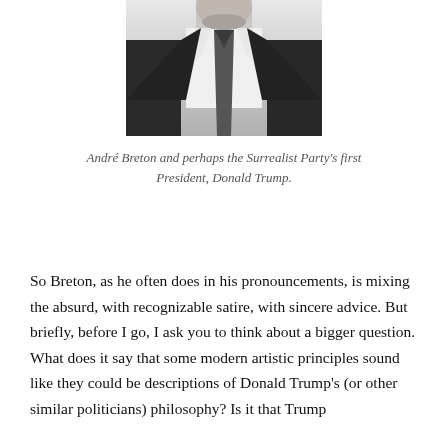[Figure (photo): Black and white photograph of a man in a suit and tie, cropped to show neck and chest area, with a small flag pin on the lapel.]
André Breton and perhaps the Surrealist Party's first President, Donald Trump.
So Breton, as he often does in his pronouncements, is mixing the absurd, with recognizable satire, with sincere advice. But briefly, before I go, I ask you to think about a bigger question. What does it say that some modern artistic principles sound like they could be descriptions of Donald Trump's (or other similar politicians) philosophy? Is it that Trump